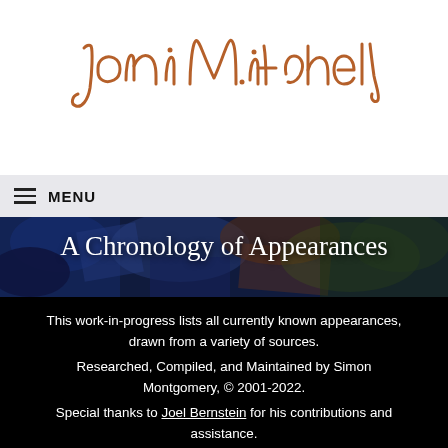[Figure (illustration): Joni Mitchell handwritten signature in brown/copper cursive script on white background]
≡ MENU
[Figure (photo): Abstract colorful painted artwork used as hero background image]
A Chronology of Appearances
This work-in-progress lists all currently known appearances, drawn from a variety of sources. Researched, Compiled, and Maintained by Simon Montgomery, © 2001-2022. Special thanks to Joel Bernstein for his contributions and assistance.